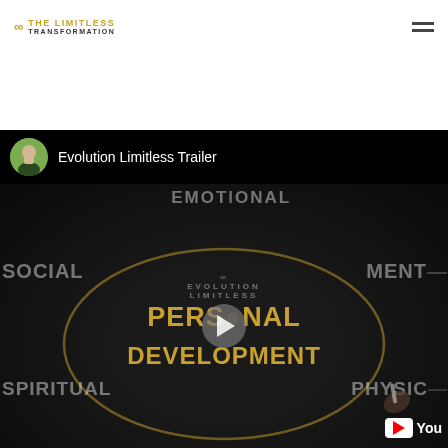[Figure (logo): The Limitless Transformation logo with infinity symbol in gold, text in gold and dark grey]
[Figure (photo): Partial cropped photo banner with dark tones, appears to show outdoor/car scene]
[Figure (screenshot): YouTube video thumbnail for 'Evolution Limitless Trailer' showing personal development chalkboard graphic with categories: Emotional, Social, Mental, Personal Development, Spiritual, Physical, with center Evolution Limitless logo and play button]